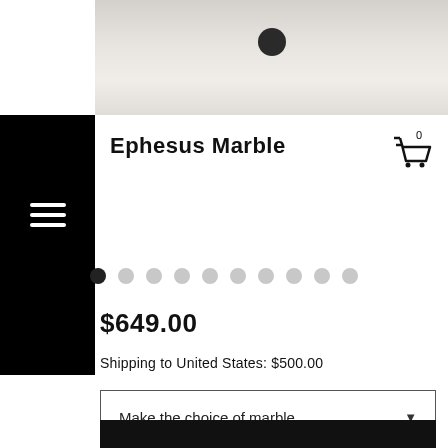[Figure (photo): White marble sink/basin product photo showing the top surface with a dark drain hole in the center]
Ephesus Marble
[Figure (other): Carousel navigation dots — 10 dots with first one filled dark]
$649.00
Shipping to United States: $500.00
Make the choice of marble.
Quantity